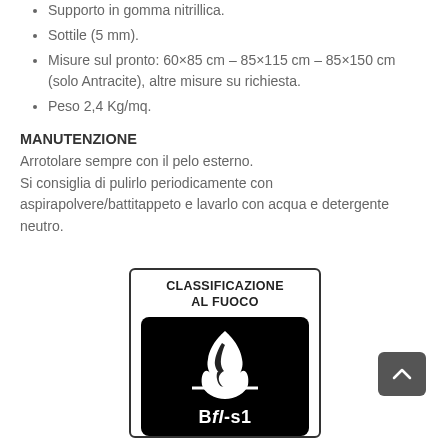Supporto in gomma nitrillica.
Sottile (5 mm).
Misure sul pronto: 60×85 cm – 85×115 cm – 85×150 cm (solo Antracite), altre misure su richiesta.
Peso 2,4 Kg/mq.
MANUTENZIONE
Arrotolare sempre con il pelo esterno.
Si consiglia di pulirlo periodicamente con aspirapolvere/battitappeto e lavarlo con acqua e detergente neutro.
[Figure (logo): Fire classification certification badge showing flame icon with text CLASSIFICAZIONE AL FUOCO and classification Bfl-s1]